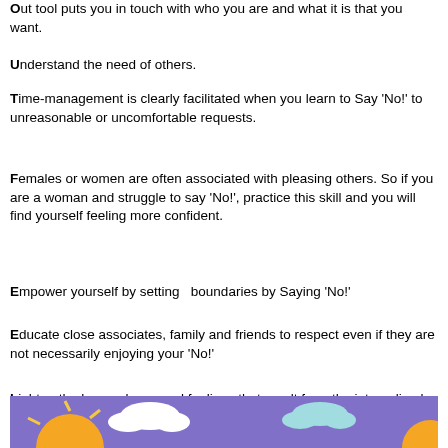Out tool puts you in touch with who you are and what it is that you want.
Understand the need of others.
Time-management is clearly facilitated when you learn to Say 'No!' to unreasonable or uncomfortable requests.
Females or women are often associated with pleasing others. So if you are a woman and struggle to say 'No!', practice this skill and you will find yourself feeling more confident.
Empower yourself by setting  boundaries by Saying 'No!'
Educate close associates, family and friends to respect even if they are not necessarily enjoying your 'No!'
Lighten the heavy depressed feelings that result from the internalised anger and resentment of Saying 'Yes' when your could Say 'No!'
[Figure (illustration): Bottom portion of an illustration showing a sunny outdoor scene with a sun, clouds, and colorful background on a purple/blue sky]